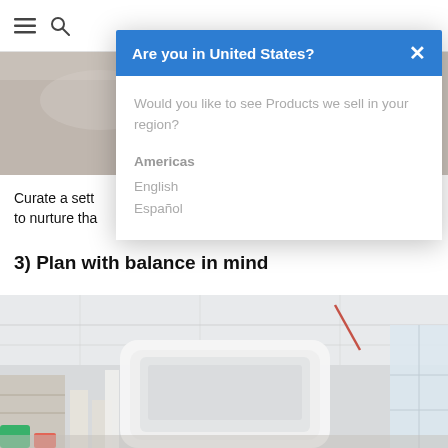Navigation bar with menu and search icons
[Figure (photo): Top background: blurred office/workspace photo in muted beige/grey tones]
Curate a sett... to nurture tha...
3) Plan with balance in mind
[Figure (screenshot): Modal dialog: 'Are you in United States?' with blue header and close X, body text 'Would you like to see Products we sell in your region?', region heading 'Americas', options 'English' and 'Español']
[Figure (photo): Modern open office interior with white curved structure, industrial ceiling, large windows, and colorful furniture]